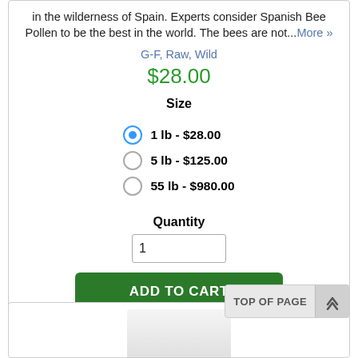in the wilderness of Spain. Experts consider Spanish Bee Pollen to be the best in the world. The bees are not...More »
G-F, Raw, Wild
$28.00
Size
1 lb - $28.00
5 lb - $125.00
55 lb - $980.00
Quantity
1
ADD TO CART
TOP OF PAGE
[Figure (photo): White jar product image at bottom of page]